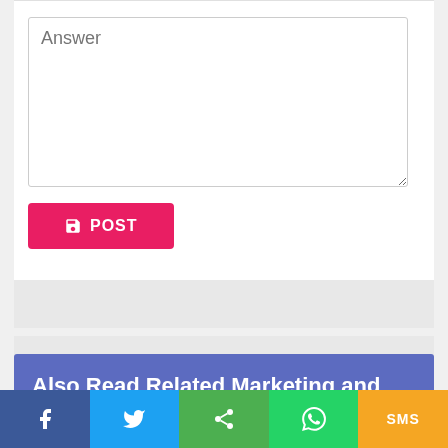[Figure (screenshot): Answer text input textarea with placeholder text 'Answer' and resize handle at bottom-right]
[Figure (screenshot): POST button with save/floppy disk icon, red/pink background color #e91e63]
[Figure (screenshot): Two gray advertisement/placeholder banner areas]
Also Read Related Marketing and Sales Interview Questions
[Figure (screenshot): Social share bar with Facebook, Twitter, Share, WhatsApp, and SMS buttons]